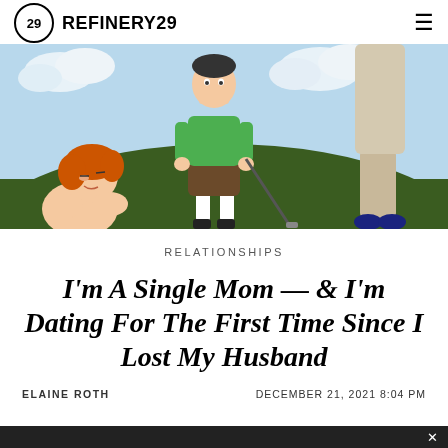REFINERY29
[Figure (illustration): Illustrated scene on a golf course: a woman with red/orange hair on the left looks up, a person in a green shirt and brown shorts holds a golf club in the center, and another person in beige pants on the right. Sky with clouds and green hills in background.]
RELATIONSHIPS
I'm A Single Mom — & I'm Dating For The First Time Since I Lost My Husband
ELAINE ROTH
DECEMBER 21, 2021 8:04 PM